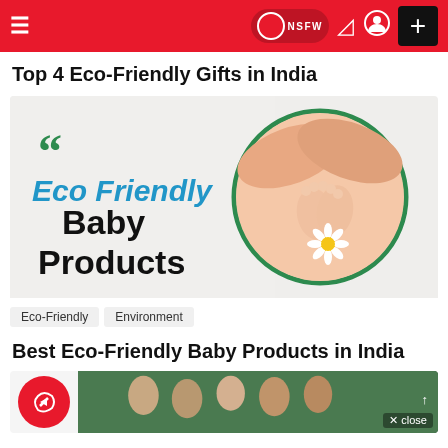≡  NSFW  + (navigation bar with toggle, icons, plus button)
Top 4 Eco-Friendly Gifts in India
[Figure (illustration): Promotional image for Eco Friendly Baby Products featuring green quote marks, blue and black bold text 'Eco Friendly Baby Products', and a circular photo of adult hands cradling baby feet with a daisy flower, on a light grey background with a green circle border.]
Eco-Friendly   Environment
Best Eco-Friendly Baby Products in India
[Figure (screenshot): Partial view of another article card with a red circular BuzzFeed-style logo icon on left and a partial green-toned group photo on the right. Overlay close button and up arrow visible.]